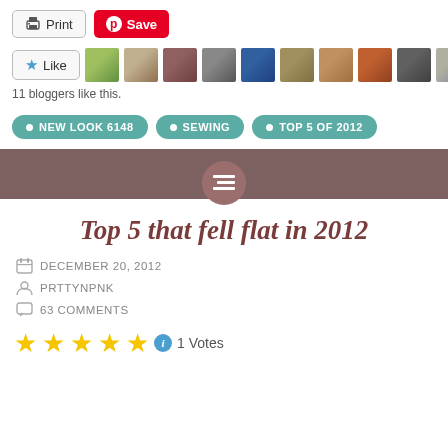[Figure (screenshot): Print and Save (Pinterest) buttons at top of blog page]
[Figure (screenshot): Like button with star and 10 blogger avatar thumbnails]
11 bloggers like this.
NEW LOOK 6148
SEWING
TOP 5 OF 2012
Top 5 that fell flat in 2012
DECEMBER 20, 2012
PRTTYNPNK
63 COMMENTS
1 Votes